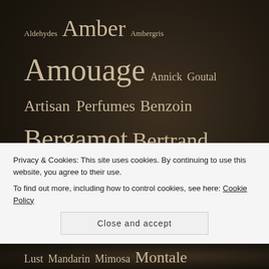[Figure (other): Tag cloud / word cloud of perfume-related terms and brand names on a dark brown background. Words appear in varying sizes indicating frequency/popularity. Terms include: Aldehydes, Amber, Ambergris, Amouage, Annick Goutal, Artisan Perfumes, Benzoin, Bergamot, Bertrand Duchaufour, Blind-buy, Blogosphere, Bond no. 9, Cardamom, Carnation, Cedar, Chanel, Cheap Thrills, Chypre, Cinnamon, Citrus, Clove, Comfort, Coriander, Cosmetics, Dior, Ellen Covey, Estée Lauder, Fig, Floral, Frankincense, Fruity, Frédéric Malle, Galbanum, Geranium, Gift Giving, Ginger, Gourmand/Foody, Green, Guerlain, India, Lust, Mandarin, Mimosa, Montale, Musk, Myrrh, Niche.]
Privacy & Cookies: This site uses cookies. By continuing to use this website, you agree to their use.
To find out more, including how to control cookies, see here: Cookie Policy
Close and accept
Lust Mandarin Mimosa Montale Musk Myrrh Niche